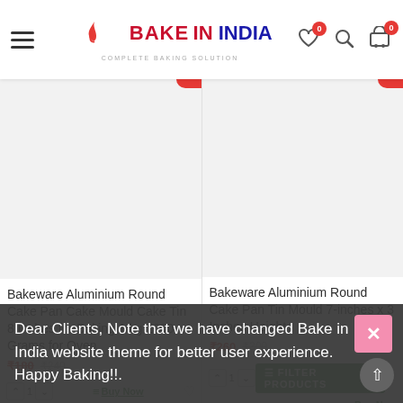Bake In India — Complete Baking Solution
Bakeware Aluminium Round Cake Pan Cake Mould Cake Tin 8 Inches for Baking 1 kg 1000 Grams for Oven
₹180 ₹240
Bakeware Aluminium Round Cake Pan Tin Mould 7-inches x 3 Inches Height
₹260 ₹300
Dear Clients, Note that we have changed Bake in India website theme for better user experience. Happy Baking!!.